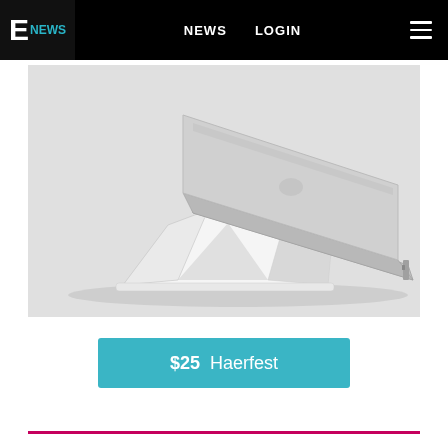E NEWS  NEWS  LOGIN
[Figure (photo): A silver laptop elevated on a white triangular/geometric origami-style stand against a light gray background, viewed from the side at an angle.]
$25  Haerfest
[Figure (other): A pink/magenta horizontal rule line at the bottom of the page]